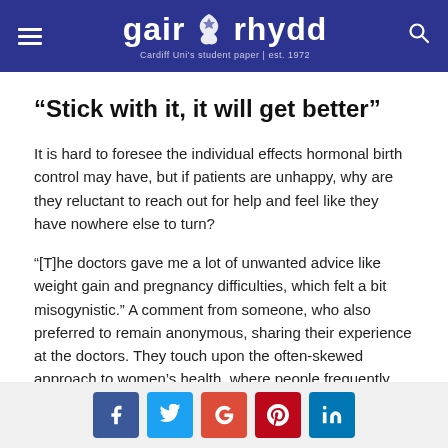gair rhydd — Cardiff Uni's student paper | est. 1972
“Stick with it, it will get better”
It is hard to foresee the individual effects hormonal birth control may have, but if patients are unhappy, why are they reluctant to reach out for help and feel like they have nowhere else to turn?
“[T]he doctors gave me a lot of unwanted advice like weight gain and pregnancy difficulties, which felt a bit misogynistic.” A comment from someone, who also preferred to remain anonymous, sharing their experience at the doctors. They touch upon the often-skewed approach to women’s health, where people frequently make their own assumptions
Social share buttons: Facebook, Twitter, Google+, Pinterest, LinkedIn